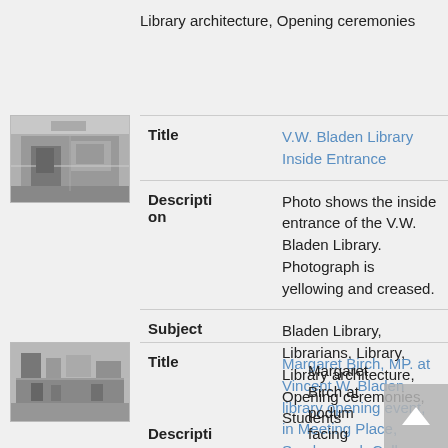Library architecture, Opening ceremonies
[Figure (photo): Black and white thumbnail photo of inside entrance of V.W. Bladen Library]
Title
V.W. Bladen Library Inside Entrance
Description
Photo shows the inside entrance of the V.W. Bladen Library. Photograph is yellowing and creased.
Subject
Bladen Library, Librarians, Library, Library architecture, Opening ceremonies, Students
[Figure (photo): Black and white thumbnail photo of Margaret Birch MP at Vincent W. Bladen library opening event]
Title
Margaret Birch, MP. at Vincent W. Bladen library opening event, in Meeting Place, Scarborough College
Descripti
Margaret Birch at podum facing